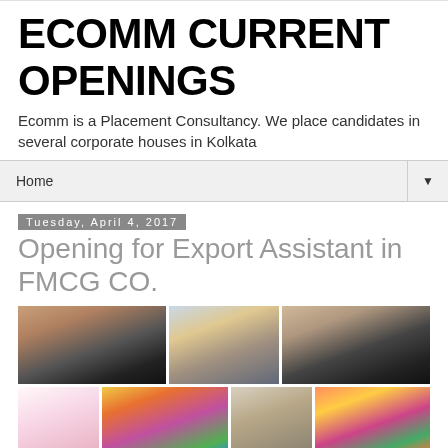ECOMM CURRENT OPENINGS
Ecomm is a Placement Consultancy. We place candidates in several corporate houses in Kolkata
Home ▼
Tuesday, April 4, 2017
Opening for Export Assistant in FMCG CO.
[Figure (photo): Three images showing office workers typing on keyboards and people at computers in an office environment]
[Figure (photo): Four images showing various desserts, candies, milkshakes, and colorful fruits/ice cream scoops]